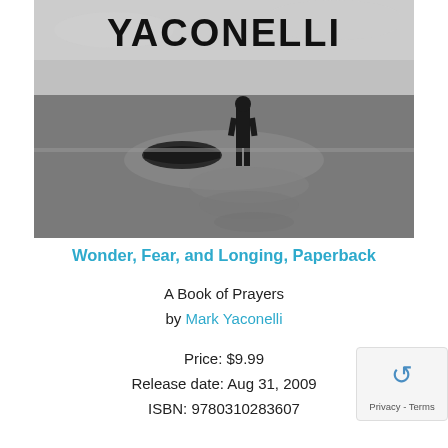[Figure (photo): Black and white photograph used as book cover showing a person standing alone on a beach/shoreline with a boat nearby, overcast sky, reflections on wet sand. Text 'YACONELLI' appears in large bold letters at the top of the cover image.]
Wonder, Fear, and Longing, Paperback
A Book of Prayers
by Mark Yaconelli
Price: $9.99
Release date: Aug 31, 2009
ISBN: 9780310283607